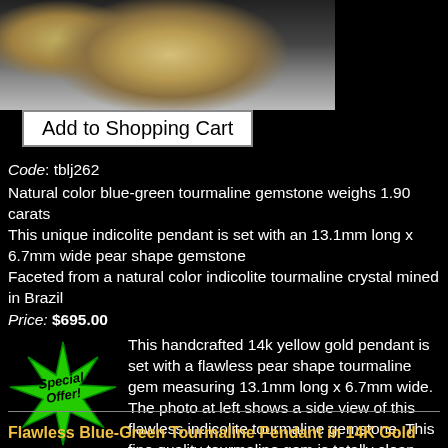[Figure (photo): Top portion of a gold pendant with blue-green tourmaline gemstone, close-up side view on grey background]
[Figure (screenshot): Add to Shopping Cart button]
Code: tblj262
Natural color blue-green tourmaline gemstone weighs 1.90 carats
This unique indicolite pendant is set with an 13.1mm long x 6.7mm wide pear shape gemstone
Faceted from a natural color indicolite tourmaline crystal mined in Brazil
Price: $695.00
[Figure (illustration): Green star burst shape with text 'Special Offer!']
This handcrafted 14k yellow gold pendant is set with a flawless pear shape tourmaline gem measuring 13.1mm long x 6.7mm wide. The photo at left shows a side view of this flawless indicolite tourmaline gemstone. This fine quality tourmaline gem is totally clean even under close inspection with magnification. It was faceted from a natural tourmaline crystal that was mined in Minas Gerais, Brazil. It has medium-dark blue green 100% natural color - this beautiful tourmaline gem is unheated and untreated. See another view of this fine quality blue-green tourmaline pendant.
Flawless Blue-Green Tourmaline Pendant in 14K Gold